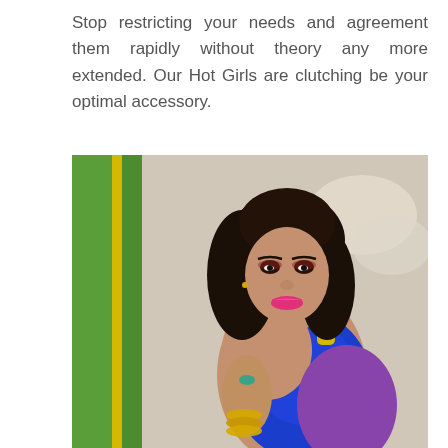Stop restricting your needs and agreement them rapidly without theory any more extended. Our Hot Girls are clutching be your optimal accessory.
[Figure (photo): A young woman with dark hair wearing a blue lace blouse/saree top and gold bangles, posing beside a green and yellow painted wall with a blurred outdoor background.]